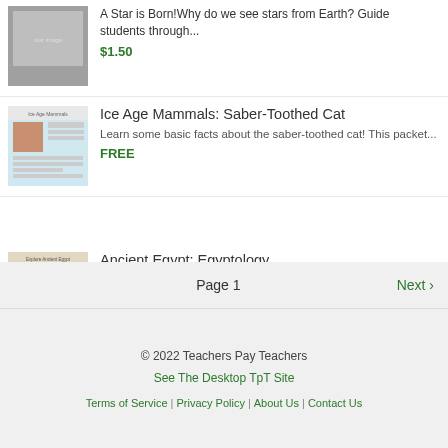[Figure (photo): Thumbnail image for A Star is Born product listing]
A Star is Born!Why do we see stars from Earth? Guide students through...
$1.50
[Figure (photo): Thumbnail image for Ice Age Mammals: Saber-Toothed Cat product]
Ice Age Mammals: Saber-Toothed Cat
Learn some basic facts about the saber-toothed cat! This packet...
FREE
[Figure (photo): Thumbnail image for Ancient Egypt: Egyptology product]
Ancient Egypt: Egyptology
Ancient Egypt:  Egyptology:  How do we know so much about Ancient...
$1.00
Page 1   Next ›
© 2022 Teachers Pay Teachers
See The Desktop TpT Site
Terms of Service  |  Privacy Policy  |  About Us  |  Contact Us